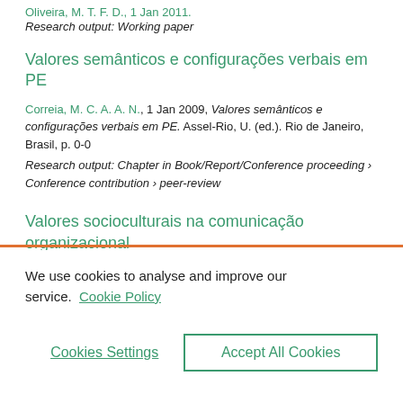Oliveira, M. T. F. D., 1 Jan 2011.
Research output: Working paper
Valores semânticos e configurações verbais em PE
Correia, M. C. A. A. N., 1 Jan 2009, Valores semânticos e configurações verbais em PE. Assel-Rio, U. (ed.). Rio de Janeiro, Brasil, p. 0-0
Research output: Chapter in Book/Report/Conference proceeding › Conference contribution › peer-review
Valores socioculturais na comunicação organizacional
We use cookies to analyse and improve our service. Cookie Policy
Cookies Settings
Accept All Cookies